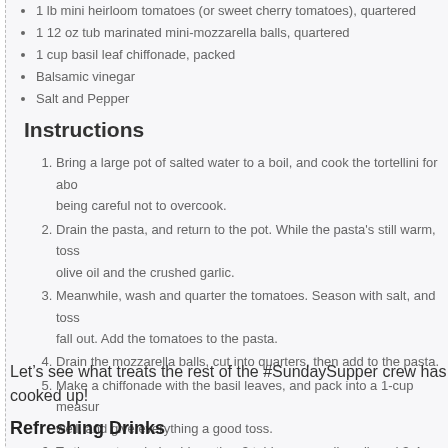1 lb mini heirloom tomatoes (or sweet cherry tomatoes), quartered
1 12 oz tub marinated mini-mozzarella balls, quartered
1 cup basil leaf chiffonade, packed
Balsamic vinegar
Salt and Pepper
Instructions
Bring a large pot of salted water to a boil, and cook the tortellini for about being careful not to overcook.
Drain the pasta, and return to the pot. While the pasta's still warm, toss olive oil and the crushed garlic.
Meanwhile, wash and quarter the tomatoes. Season with salt, and toss fall out. Add the tomatoes to the pasta.
Drain the mozzarella balls, cut into quarters, then add to the pasta.
Make a chiffonade with the basil leaves, and pack into a 1-cup measur well, and give everything a good toss.
To the pasta salad, add another 3 tablespoons olive oil, and 3-4 tables until blended. Add salt and pepper to taste.
Wordpress Recipe Plugin by EasyRecipe
Let’s see what treats the rest of the #SundaySupper crew has cooked up!
Refreshing Drinks